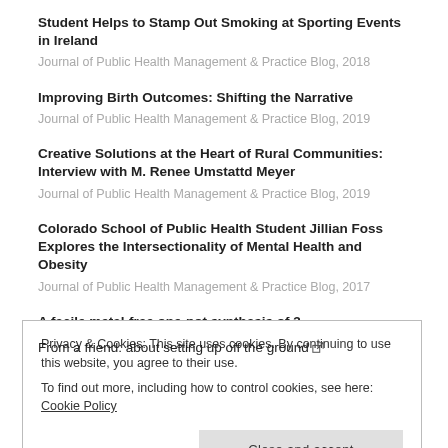Student Helps to Stamp Out Smoking at Sporting Events in Ireland
Journal of Public Health Management & Practice Blog, 2018
Improving Birth Outcomes: Shifting the Narrative
Journal of Public Health Management & Practice Blog, 2019
Creative Solutions at the Heart of Rural Communities: Interview with M. Renee Umstattd Meyer
Journal of Public Health Management & Practice Blog, 2019
Colorado School of Public Health Student Jillian Foss Explores the Intersectionality of Mental Health and Obesity
Journal of Public Health Management & Practice Blog, 2017
A facile metal-free one-pot synthesis of 3-aminoisoquinolines by intramolecular transannulation of 1-sulfonyl-4-(2-aminomethylphenyl)-1,2,3-triazoles
Privacy & Cookies: This site uses cookies. By continuing to use this website, you agree to their use.
To find out more, including how to control cookies, see here: Cookie Policy
From a friend: about setting up off the ground